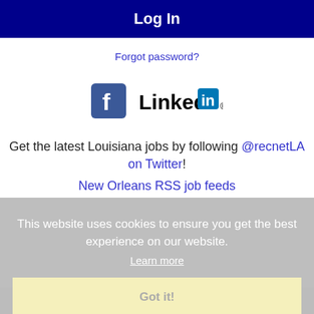Log In
Forgot password?
[Figure (logo): Facebook and LinkedIn social login icons side by side]
Get the latest Louisiana jobs by following @recnetLA on Twitter!
New Orleans RSS job feeds
This website uses cookies to ensure you get the best experience on our website.
Learn more
Got it!
JOB SEEKERS